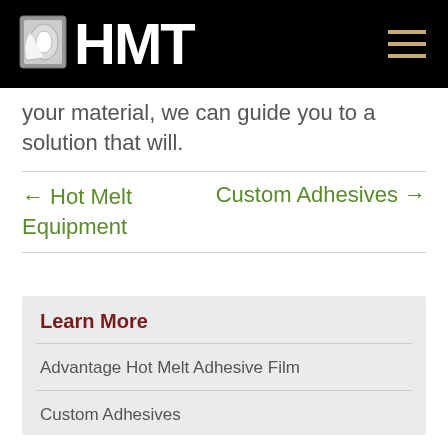[Figure (logo): HMT logo with roll of material icon and bold white HMT text on black background, hamburger menu icon on right]
your material, we can guide you to a solution that will.
← Hot Melt Equipment
Custom Adhesives →
Learn More
Advantage Hot Melt Adhesive Film
Custom Adhesives